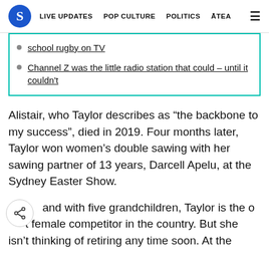S  LIVE UPDATES  POP CULTURE  POLITICS  ĀTEA  ≡
school rugby on TV
Channel Z was the little radio station that could – until it couldn't
Alistair, who Taylor describes as “the backbone to my success”, died in 2019. Four months later, Taylor won women’s double sawing with her sawing partner of 13 years, Darcell Apelu, at the Sydney Easter Show.
A[share icon]and with five grandchildren, Taylor is the o[share icon]t female competitor in the country. But she isn’t thinking of retiring any time soon. At the